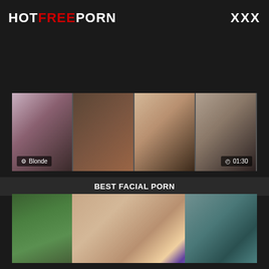HOTFREEPORN   XXX
[Figure (screenshot): Video thumbnail strip showing four panels of a blonde video clip with tag 'Blonde' and duration '01:30']
BEST FACIAL PORN
[Figure (screenshot): Video thumbnail showing two people, one in green shirt]